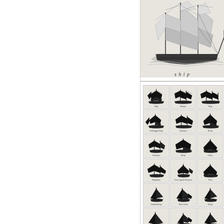[Figure (illustration): Large detailed illustration of a sailing ship (full-rigged ship) with multiple masts and sails, viewed from the side. Labeled 'ship' below.]
ship
[Figure (illustration): Grid of approximately 18 small silhouette illustrations of various types of sailing vessels and watercraft, arranged in 6 rows of 3 columns each, with small labels beneath each silhouette.]